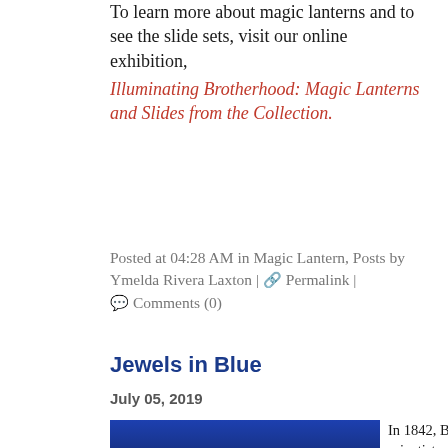To learn more about magic lanterns and to see the slide sets, visit our online exhibition, Illuminating Brotherhood: Magic Lanterns and Slides from the Collection.
Posted at 04:28 AM in Magic Lantern, Posts by Ymelda Rivera Laxton | 🔗 Permalink | 💬 Comments (0)
Jewels in Blue
July 05, 2019
[Figure (photo): Blue rectangular object, likely a book or artifact cover in deep blue color]
In 1842, British scientist and